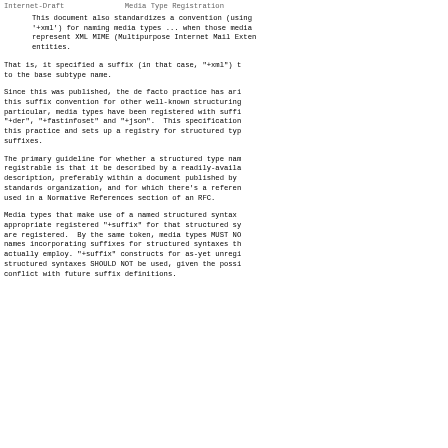Internet-Draft                Media Type Registration
This document also standardizes a convention (using '+xml') for naming media types ... when those media represent XML MIME (Multipurpose Internet Mail Extensions) entities.
That is, it specified a suffix (in that case, "+xml") t to the base subtype name.
Since this was published, the de facto practice has ari this suffix convention for other well-known structuring particular, media types have been registered with suffi "+der", "+fastinfoset" and "+json". This specification this practice and sets up a registry for structured typ suffixes.
The primary guideline for whether a structured type nam registrable is that it be described by a readily-availa description, preferably within a document published by standards organization, and for which there's a referen used in a Normative References section of an RFC.
Media types that make use of a named structured syntax appropriate registered "+suffix" for that structured sy are registered. By the same token, media types MUST NO names incorporating suffixes for structured syntaxes th actually employ. "+suffix" constructs for as-yet unregi structured syntaxes SHOULD NOT be used, given the possi conflict with future suffix definitions.